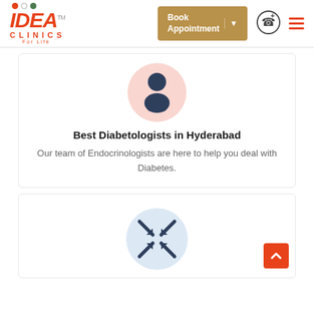[Figure (logo): IDEA CLINICS logo with orange italic text, dots (red, gray, green), CLINICS subtext, For Life tagline, and TM mark]
[Figure (other): Book Appointment button with dropdown arrow in brown/gold color]
[Figure (other): Phone/call icon circle and hamburger menu icon in orange]
[Figure (other): Doctor/physician icon on pink circular background]
Best Diabetologists in Hyderabad
Our team of Endocrinologists are here to help you deal with Diabetes.
[Figure (other): Compress/minimize icon (four inward arrows) on light blue circular background]
[Figure (other): Back to top button - orange square with upward chevron arrow]